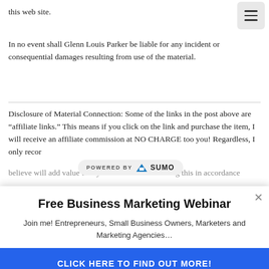this web site.
In no event shall Glenn Louis Parker be liable for any incident or consequential damages resulting from use of the material.
Disclosure of Material Connection: Some of the links in the post above are “affiliate links.” This means if you click on the link and purchase the item, I will receive an affiliate commission at NO CHARGE too you! Regardless, I only recor… s I use personally and believe will add value to my readers. I am disclosing this in accordance…
Free Business Marketing Webinar
Join me! Entrepreneurs, Small Business Owners, Marketers and Marketing Agencies…
CLICK HERE TO FIND OUT MORE!